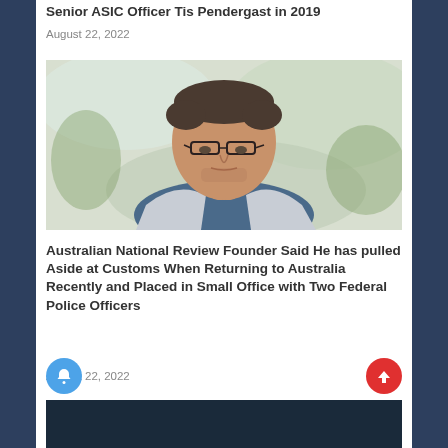Senior ASIC Officer Tis Pendergast in 2019
August 22, 2022
[Figure (photo): Middle-aged man with glasses wearing a light grey blazer and blue shirt, looking downward, with an outdoor blurred background]
Australian National Review Founder Said He has pulled Aside at Customs When Returning to Australia Recently and Placed in Small Office with Two Federal Police Officers
August 22, 2022